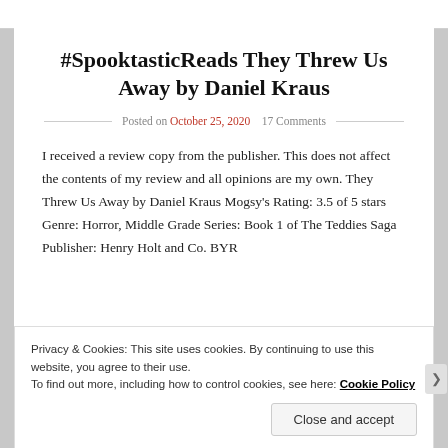#SpooktasticReads They Threw Us Away by Daniel Kraus
Posted on October 25, 2020    17 Comments
I received a review copy from the publisher. This does not affect the contents of my review and all opinions are my own. They Threw Us Away by Daniel Kraus Mogsy's Rating: 3.5 of 5 stars Genre: Horror, Middle Grade Series: Book 1 of The Teddies Saga Publisher: Henry Holt and Co. BYR
Privacy & Cookies: This site uses cookies. By continuing to use this website, you agree to their use.
To find out more, including how to control cookies, see here: Cookie Policy
Close and accept